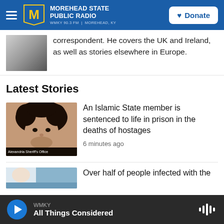Morehead State Public Radio — WMKY 90.3 FM | Morehead, KY — Donate
correspondent. He covers the UK and Ireland, as well as stories elsewhere in Europe.
Latest Stories
[Figure (photo): Mugshot-style photo of an Islamic State member, labeled Alexandria Sheriff's Office]
An Islamic State member is sentenced to life in prison in the deaths of hostages
6 minutes ago
Over half of people infected with the
WMKY — All Things Considered